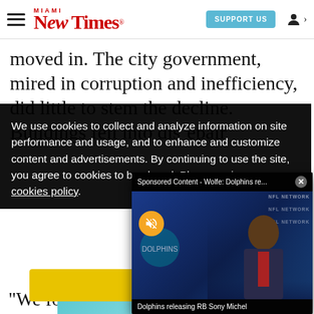Miami New Times | SUPPORT US
moved in. The city government, mired in corruption and inefficiency, did little to stem the decline. Buildings fell into disrepair
We use cookies to collect and analyze information on site performance and usage, and to enhance and customize content and advertisements. By continuing to use the site, you agree to cookies to be placed. Please review our cookies policy.
[Figure (screenshot): Sponsored Content video popup - Wolfe: Dolphins re... with close button. Shows NFL Network backdrop with presenter and Dolphins logo. Caption: Dolphins releasing RB Sony Michel. Mute button visible.]
[Figure (photo): Tacolandia advertisement by Goya with teal background]
Got it!
“We fought very hard, and that was good,” she